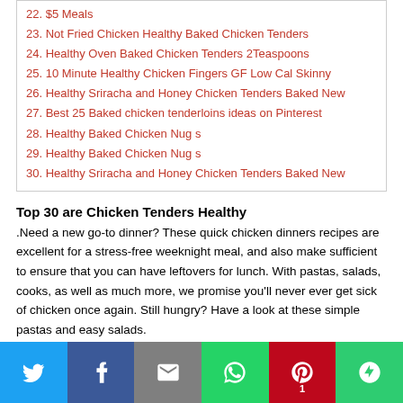22. $5 Meals
23. Not Fried Chicken Healthy Baked Chicken Tenders
24. Healthy Oven Baked Chicken Tenders 2Teaspoons
25. 10 Minute Healthy Chicken Fingers GF Low Cal Skinny
26. Healthy Sriracha and Honey Chicken Tenders Baked New
27. Best 25 Baked chicken tenderloins ideas on Pinterest
28. Healthy Baked Chicken Nug s
29. Healthy Baked Chicken Nug s
30. Healthy Sriracha and Honey Chicken Tenders Baked New
Top 30 are Chicken Tenders Healthy
.Need a new go-to dinner? These quick chicken dinners recipes are excellent for a stress-free weeknight meal, and also make sufficient to ensure that you can have leftovers for lunch. With pastas, salads, cooks, as well as much more, we promise you'll never ever get sick of chicken once again. Still hungry? Have a look at these simple pastas and easy salads.